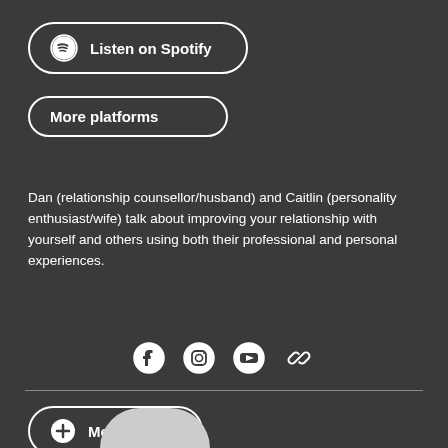[Figure (other): Listen on Spotify button with Spotify logo icon]
[Figure (other): More platforms button]
Dan (relationship counsellor/husband) and Caitlin (personality enthusiast/wife) talk about improving your relationship with yourself and others using both their professional and personal experiences.
[Figure (other): Social media icons: Facebook, Instagram, YouTube, and link/chain icon]
[Figure (other): Message button with plus icon]
[Figure (other): Partial circular avatar image at bottom of page]